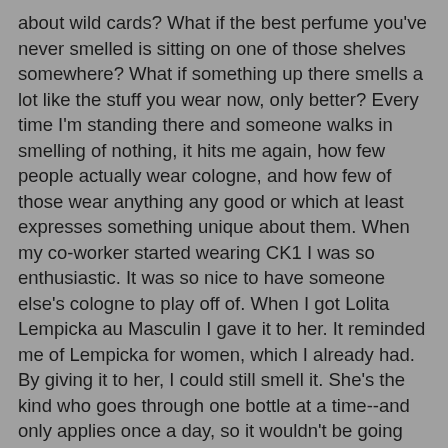about wild cards? What if the best perfume you've never smelled is sitting on one of those shelves somewhere? What if something up there smells a lot like the stuff you wear now, only better? Every time I'm standing there and someone walks in smelling of nothing, it hits me again, how few people actually wear cologne, and how few of those wear anything any good or which at least expresses something unique about them. When my co-worker started wearing CK1 I was so enthusiastic. It was so nice to have someone else's cologne to play off of. When I got Lolita Lempicka au Masculin I gave it to her. It reminded me of Lempicka for women, which I already had. By giving it to her, I could still smell it. She's the kind who goes through one bottle at a time--and only applies once a day, so it wouldn't be going anywhere soon.
I have a fantasy, and it goes like this: I walk into a perfume shop, and all the usual suspects are there, sniffing all the same old same olds. Then somebody off in the corner (I like to think a guy) lights up like someone stuck his finger in a socket. His eyes are huge. He has a bottle in his hand. I gather he's just smelled it. He speaks directly to me because